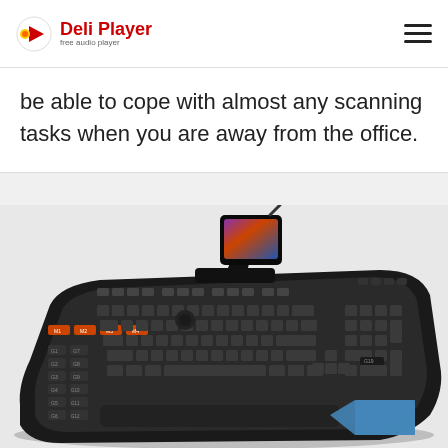Deli Player — free audio player
be able to cope with almost any scanning tasks when you are away from the office.
[Figure (photo): Photo of a Logitech G19 gaming keyboard with a built-in LCD screen and macro keys, shown at an angle on a light gray background. A blue tag/label graphic is overlaid in the bottom-right corner.]